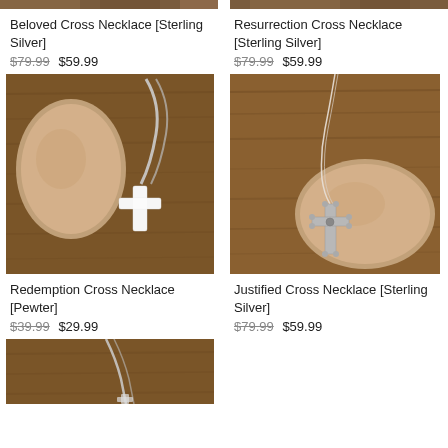[Figure (photo): Top strip of wooden surface photo, top of page left column]
Beloved Cross Necklace [Sterling Silver]
$79.99 $59.99
[Figure (photo): Beloved Cross Necklace on wooden surface with stone, silver chain with white cross pendant]
Redemption Cross Necklace [Pewter]
$39.99 $29.99
[Figure (photo): Partial photo of Redemption Cross Necklace, silver chain visible on wooden background]
[Figure (photo): Top strip of wooden surface photo, top of page right column]
Resurrection Cross Necklace [Sterling Silver]
$79.99 $59.99
[Figure (photo): Resurrection Cross Necklace on wooden surface with stone, ornate silver cross on white cord]
Justified Cross Necklace [Sterling Silver]
$79.99 $59.99